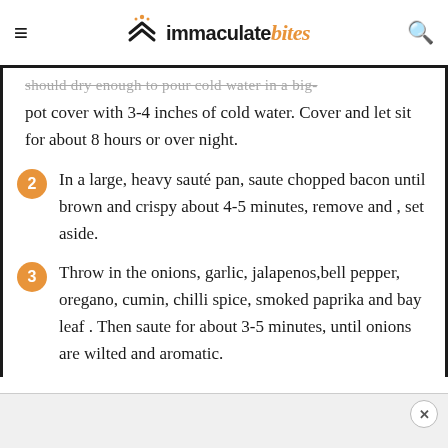immaculate bites
...should dry enough to pour cold water in a big-pot cover with 3-4 inches of cold water. Cover and let sit for about 8 hours or over night.
2. In a large, heavy sauté pan, saute chopped bacon until brown and crispy about 4-5 minutes, remove and , set aside.
3. Throw in the onions, garlic, jalapenos,bell pepper, oregano, cumin, chilli spice, smoked paprika and bay leaf . Then saute for about 3-5 minutes, until onions are wilted and aromatic.